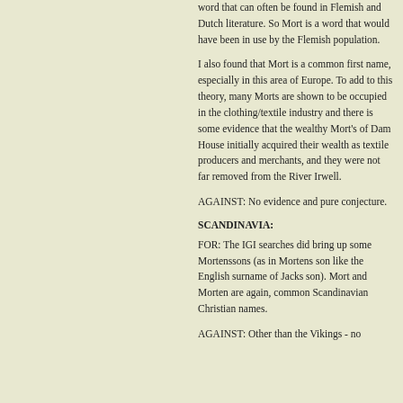word that can often be found in Flemish and Dutch literature. So Mort is a word that would have been in use by the Flemish population.
I also found that Mort is a common first name, especially in this area of Europe. To add to this theory, many Morts are shown to be occupied in the clothing/textile industry and there is some evidence that the wealthy Mort's of Dam House initially acquired their wealth as textile producers and merchants, and they were not far removed from the River Irwell.
AGAINST: No evidence and pure conjecture.
SCANDINAVIA:
FOR: The IGI searches did bring up some Mortenssons (as in Mortens son like the English surname of Jacks son). Mort and Morten are again, common Scandinavian Christian names.
AGAINST: Other than the Vikings - no